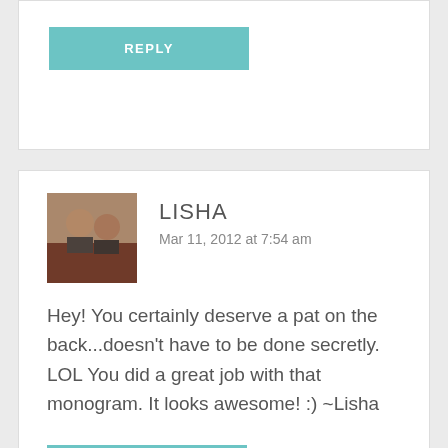REPLY
LISHA
Mar 11, 2012 at 7:54 am
Hey! You certainly deserve a pat on the back...doesn't have to be done secretly. LOL You did a great job with that monogram. It looks awesome! :) ~Lisha
REPLY
KATHY @ CREATIVE HOME